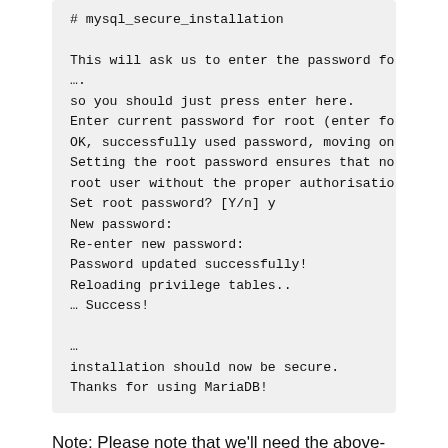[Figure (screenshot): Terminal/code block showing mysql_secure_installation output with password setup prompts and success messages]
Note: Please note that we'll need the above-